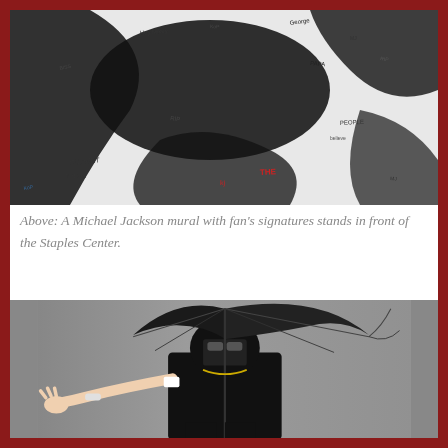[Figure (photo): A Michael Jackson mural covered densely with fan signatures and messages in black, white, and colorful ink. The mural shows a silhouette figure in black against a white background filled with handwritten notes.]
Above: A Michael Jackson mural with fan's signatures stands in front of the Staples Center.
[Figure (photo): A person dressed in black holding a large black umbrella, wearing a face covering and sunglasses, extending one arm outward. The background is a plain gray wall.]